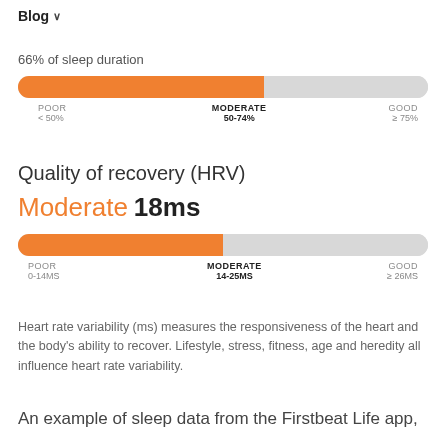Blog ∨
66% of sleep duration
[Figure (infographic): Horizontal segmented progress bar showing sleep duration at 66%, with labels: POOR <50%, MODERATE 50-74%, GOOD ≥75%]
Quality of recovery (HRV)
Moderate 18ms
[Figure (infographic): Horizontal segmented progress bar showing HRV at 18ms in the Moderate range, with labels: POOR 0-14MS, MODERATE 14-25MS, GOOD ≥26MS]
Heart rate variability (ms) measures the responsiveness of the heart and the body's ability to recover. Lifestyle, stress, fitness, age and heredity all influence heart rate variability.
An example of sleep data from the Firstbeat Life app,